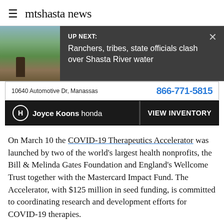mtshasta news
[Figure (screenshot): UP NEXT banner with photo of a man standing outdoors and headline: Ranchers, tribes, state officials clash over Shasta River water. Dark gray background with X close button.]
[Figure (other): Joyce Koons Honda advertisement. Address: 10640 Automotive Dr, Manassas. Phone: 866-771-5815. Call to action: VIEW INVENTORY.]
On March 10 the COVID-19 Therapeutics Accelerator was launched by two of the world's largest health nonprofits, the Bill & Melinda Gates Foundation and England's Wellcome Trust together with the Mastercard Impact Fund. The Accelerator, with $125 million in seed funding, is committed to coordinating research and development efforts for COVID-19 therapies.